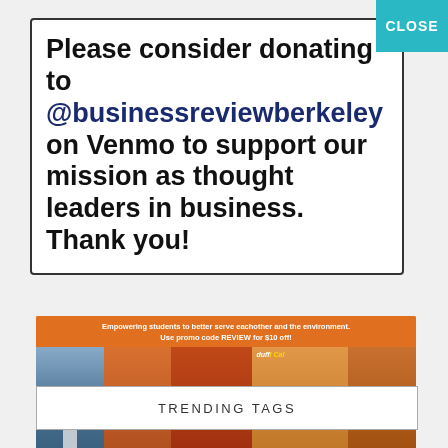Please consider donating to @businessreviewberkeley on Venmo to support our mission as thought leaders in business. Thank you!
[Figure (photo): Orange banner advertisement with text 'Empowering students to better serve eachother and the environment. Use promo code REVIEW for $10 off!' and a row of photos showing students in orange shirts, a Berkeley landmark, and the duffI Cal brand logo.]
[Figure (infographic): Carousel navigation dots: one filled black pill and two empty outlined pills]
TRENDING TAGS